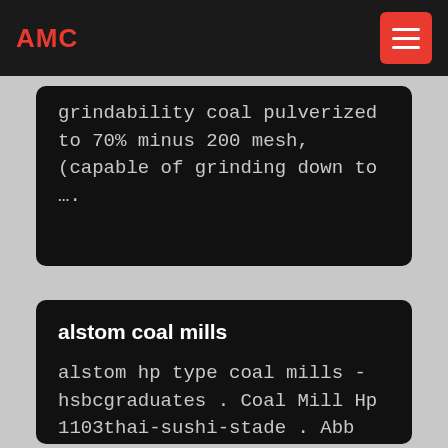AMC
grindability coal pulverized to 70% minus 200 mesh, (capable of grinding down to ….
alstom coal mills
alstom hp type coal mills - hsbcgraduates . Coal Mill Hp 1103thai-sushi-stade . Abb coal pulverizer hp grinding mill equipment hp 1003 type coal pulveriser in china the alstom hp coal pulverizer is the bowl mill hphp coal pulverizer alstom make more hp dyn pulverizing alstom abb coal pulverizer hp 1103 crusher in iran grinding is the required powdering or pulverizing ...